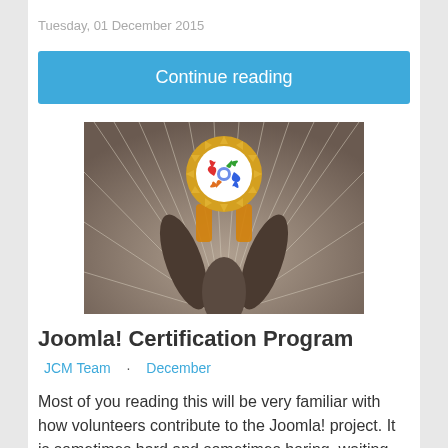Tuesday, 01 December 2015
Continue reading
[Figure (illustration): Joomla certification program illustration: a figure holding up a gold medal/badge with the Joomla logo, radiating light beams on a brown/grey background]
Joomla! Certification Program
JCM Team · December
Most of you reading this will be very familiar with how volunteers contribute to the Joomla! project. It is sometimes hard and sometimes boring, waiting for results that cannot be